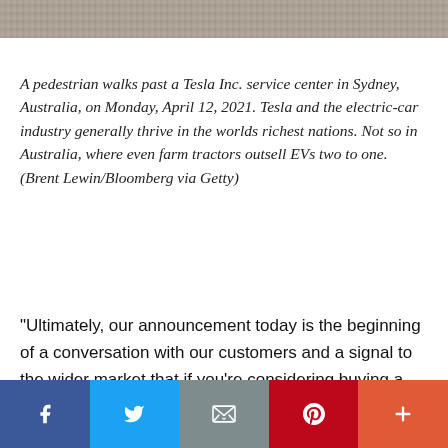[Figure (photo): Top strip showing partial photo of a Tesla Inc. service center area, appears to be pavement/ground level]
A pedestrian walks past a Tesla Inc. service center in Sydney, Australia, on Monday, April 12, 2021. Tesla and the electric-car industry generally thrive in the worlds richest nations. Not so in Australia, where even farm tractors outsell EVs two to one. (Brent Lewin/Bloomberg via Getty)
“Ultimately, our announcement today is the beginning of a conversation with our customers and a signal to the wider market that if you’re considering buying a new car, you should think seriously about an electric vehicle – both for its